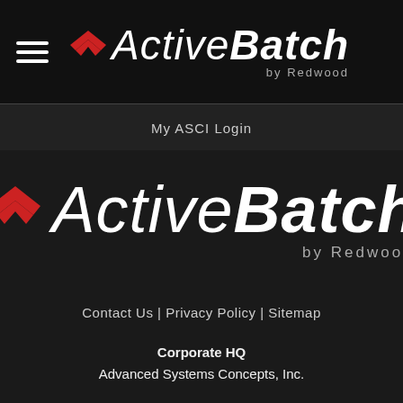[Figure (logo): ActiveBatch by Redwood logo in top navigation bar with hamburger menu icon on the left]
My ASCI Login
[Figure (logo): ActiveBatch by Redwood large center logo on dark background]
Contact Us | Privacy Policy | Sitemap
Corporate HQ
Advanced Systems Concepts, Inc.
This site uses cookies to offer you a better experience. Please review our Privacy Policy for additional information.
Accept